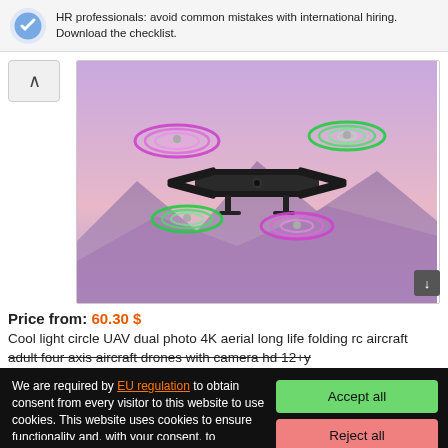[Figure (screenshot): Ad banner with logo and text: HR professionals: avoid common mistakes with international hiring. Download the checklist.]
[Figure (photo): Product image of a cool light circle UAV drone with colorful spiral light rings around the propellers, flying against a purple/pink sky with mountains.]
Price from: 60.30 $
Cool light circle UAV dual photo 4K aerial long life folding rc aircraft adult four axis aircraft drones with camera hd 12+y
We are required by EU regulation to obtain consent from every visitor to this website to use cookies. This website uses cookies to ensure functionality and, with your consent, to personalise content and measure traffic, among other things. By clicking on the "Accept All" button, you agree to the use of cookies and to the transfer of website behavioural data for the display of targeted advertising on social networks, advertising networks on other sites.